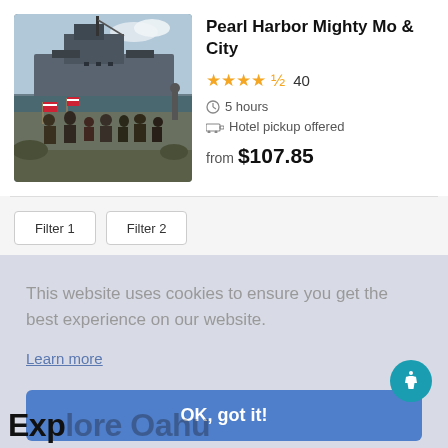[Figure (photo): Photo of a battleship with a crowd of people with flags in the foreground, Pearl Harbor Mighty Mo battleship]
Pearl Harbor Mighty Mo & City
★★★★½ 40
🕐 5 hours
Hotel pickup offered
from $107.85
This website uses cookies to ensure you get the best experience on our website.
Learn more
OK, got it!
Explore Oahu